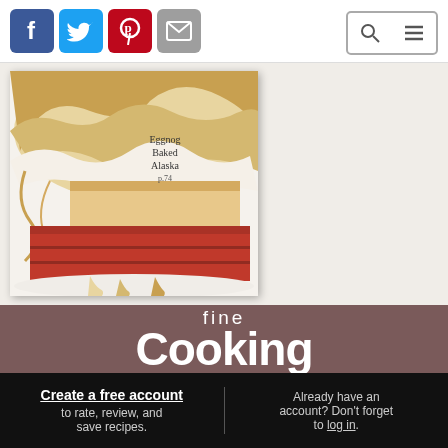Social media icons (Facebook, Twitter, Pinterest, Email) and search/menu icons
[Figure (photo): Magazine cover showing Eggnog Baked Alaska slice with red velvet cake base, meringue topping, on a white plate. Text reads 'Eggnog Baked Alaska p.74']
[Figure (logo): Fine Cooking magazine logo in white text on mauve/brown background]
Create a free account to rate, review, and save recipes.
Already have an account? Don't forget to log in.